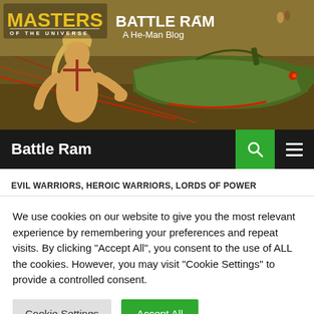[Figure (illustration): Masters of the Universe banner image with He-Man character and Battle Ram vehicle. Logo reads MASTERS OF THE UNIVERSE. Title text: BATTLE RAM A He-Man Blog.]
Battle Ram
EVIL WARRIORS, HEROIC WARRIORS, LORDS OF POWER
We use cookies on our website to give you the most relevant experience by remembering your preferences and repeat visits. By clicking "Accept All", you consent to the use of ALL the cookies. However, you may visit "Cookie Settings" to provide a controlled consent.
Cookie Settings
Accept All